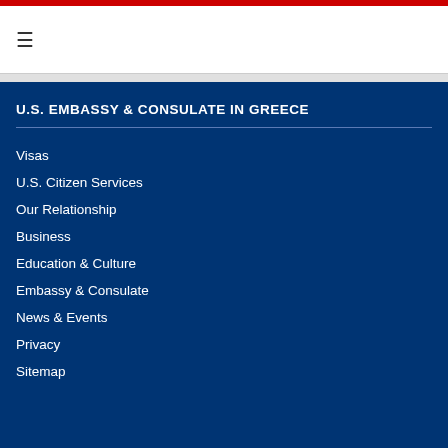≡
U.S. EMBASSY & CONSULATE IN GREECE
Visas
U.S. Citizen Services
Our Relationship
Business
Education & Culture
Embassy & Consulate
News & Events
Privacy
Sitemap